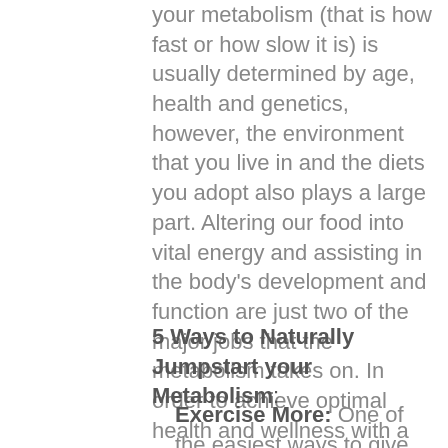your metabolism (that is how fast or how slow it is) is usually determined by age, health and genetics, however, the environment that you live in and the diets you adopt also plays a large part. Altering our food into vital energy and assisting in the body's development and function are just two of the major jobs that the metabolism takes on. In order to achieve optimal health and wellness with a healthy surplus of energy you should strive to have a fast metabolism, below are 5 natural ways to achieve that.
5 Ways to Naturally Jumpstart your Metabolism:
Exercise More: One of the easiest ways to give your sluggish metabolism a